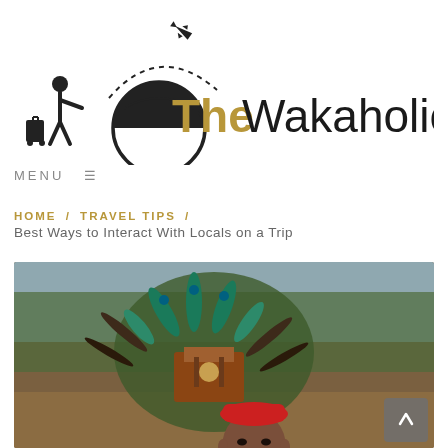[Figure (logo): The Wakaholic travel blog logo: silhouette of traveler with suitcase, globe with arc, airplane with dashed flight path, text 'The Wakaholic' with 'The' in gold and 'Wakaholic' in black]
MENU ☰
HOME / TRAVEL TIPS / Best Ways to Interact With Locals on a Trip
[Figure (photo): A person wearing a red hat/cap and elaborate peacock feather headdress with decorative elements, photographed outdoors among trees]